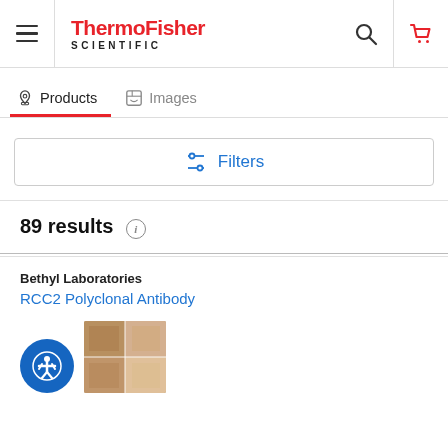[Figure (screenshot): ThermoFisher Scientific website header with hamburger menu icon, logo, search icon, and cart icon]
Products | Images (tab navigation)
Filters button
89 results
Bethyl Laboratories
RCC2 Polyclonal Antibody
[Figure (photo): Product image of RCC2 Polyclonal Antibody microscopy image]